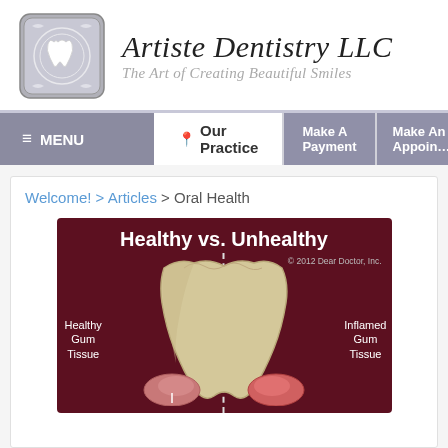[Figure (logo): Artiste Dentistry LLC logo badge with decorative frame and tooth icon]
Artiste Dentistry LLC
The Art of Creating Beautiful Smiles
MENU | Our Practice | Make A Payment | Make An Appointment
Welcome! > Articles > Oral Health
[Figure (illustration): Medical illustration showing Healthy vs. Unhealthy gum tissue comparison with a tooth cross-section. Left side shows Healthy Gum Tissue, right side shows Inflamed Gum Tissue. Copyright 2012 Dear Doctor, Inc.]